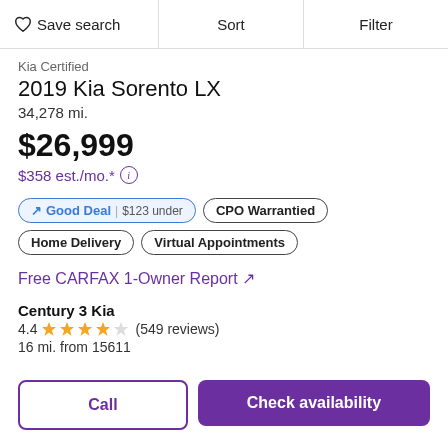Save search | Sort | Filter
Kia Certified
2019 Kia Sorento LX
34,278 mi.
$26,999
$358 est./mo.*
Good Deal | $123 under
CPO Warrantied
Home Delivery
Virtual Appointments
Free CARFAX 1-Owner Report ↗
Century 3 Kia
4.4 ★★★★½ (549 reviews)
16 mi. from 15611
Call
Check availability